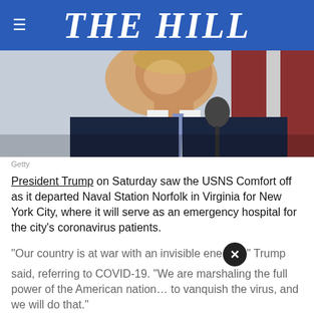THE HILL
[Figure (photo): Close-up photo of President Trump speaking into a microphone, wearing a dark suit and striped tie, photographed outdoors.]
Getty
President Trump on Saturday saw the USNS Comfort off as it departed Naval Station Norfolk in Virginia for New York City, where it will serve as an emergency hospital for the city's coronavirus patients.
“Our country is at war with an invisible ene…” Trump said, referring to COVID-19. “We are marshaling the full power of the American nation… to vanquish the virus, and we will do that.”